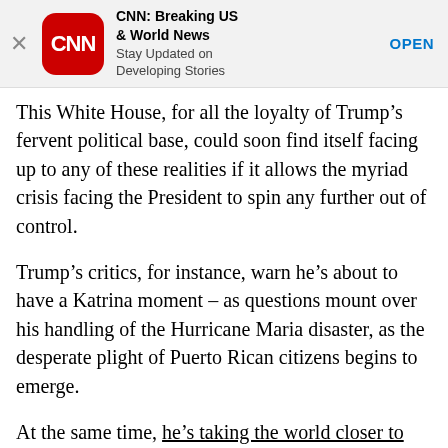[Figure (other): CNN app advertisement banner with close button (X), CNN red rounded square logo, app title 'CNN: Breaking US & World News', subtitle 'Stay Updated on Developing Stories', and an OPEN button link]
This White House, for all the loyalty of Trump’s fervent political base, could soon find itself facing up to any of these realities if it allows the myriad crisis facing the President to spin any further out of control.
Trump’s critics, for instance, warn he’s about to have a Katrina moment – as questions mount over his handling of the Hurricane Maria disaster, as the desperate plight of Puerto Rican citizens begins to emerge.
At the same time, he’s taking the world closer to the brink with North Korea, exacerbating a nuclear crisis with no clear face saving exit for himself or dictator